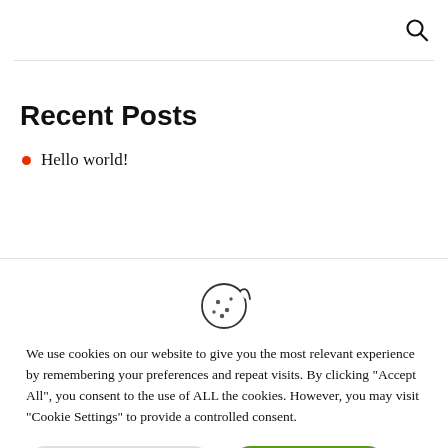Search icon (header navigation)
Recent Posts
Hello world!
We use cookies on our website to give you the most relevant experience by remembering your preferences and repeat visits. By clicking "Accept All", you consent to the use of ALL the cookies. However, you may visit "Cookie Settings" to provide a controlled consent.